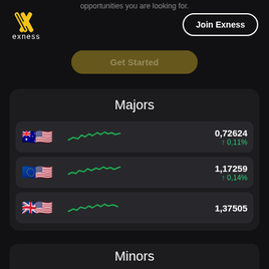opportunities you are looking for.
[Figure (logo): Exness logo — yellow stylized X mark with 'exness' text below in white]
Join Exness
Get Started
Majors
| Pair | Chart | Price | Change |
| --- | --- | --- | --- |
| AUD/USD |  | 0,72624 | ↑ 0,11% |
| EUR/USD |  | 1,17259 | ↑ 0,14% |
| GBP/USD |  | 1,37505 |  |
Minors